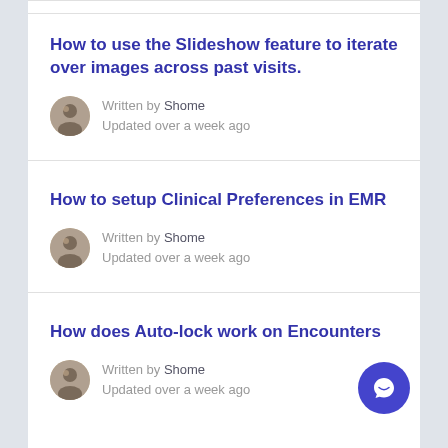How to use the Slideshow feature to iterate over images across past visits.
Written by Shome
Updated over a week ago
How to setup Clinical Preferences in EMR
Written by Shome
Updated over a week ago
How does Auto-lock work on Encounters
Written by Shome
Updated over a week ago